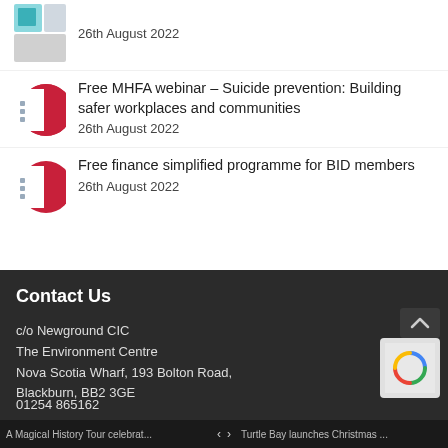26th August 2022
Free MHFA webinar – Suicide prevention: Building safer workplaces and communities
26th August 2022
Free finance simplified programme for BID members
26th August 2022
Contact Us
c/o Newground CIC
The Environment Centre
Nova Scotia Wharf, 193 Bolton Road,
Blackburn, BB2 3GE
A Magical History Tour celebrat... < > Turtle Bay launches Christmas ...